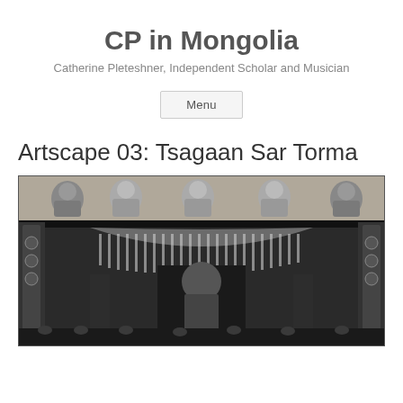CP in Mongolia
Catherine Pleteshner, Independent Scholar and Musician
Menu
Artscape 03: Tsagaan Sar Torma
[Figure (photo): Black and white photograph of a Mongolian Buddhist temple interior showing ornate decorations, deity paintings along the upper frieze, hanging fabric decorations, and a large central figure or statue surrounded by ritual objects and attendants.]